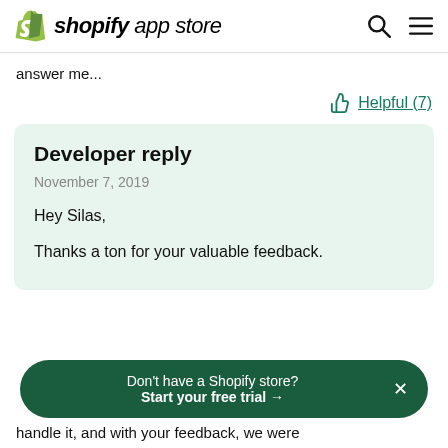shopify app store
answer me...
Helpful (7)
Developer reply
November 7, 2019
Hey Silas,

Thanks a ton for your valuable feedback.
Don't have a Shopify store? Start your free trial →
handle it, and with your feedback, we were